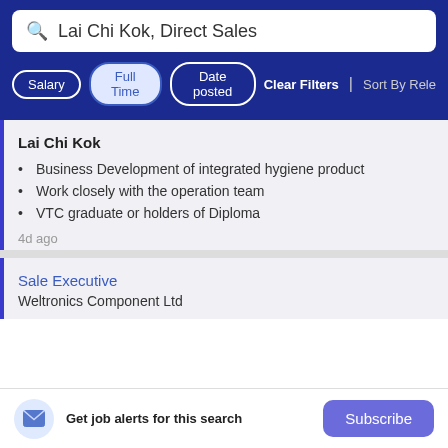Lai Chi Kok, Direct Sales
Salary | Full Time | Date posted | Clear Filters | Sort By Rele…
Lai Chi Kok
Business Development of integrated hygiene product
Work closely with the operation team
VTC graduate or holders of Diploma
4d ago
Sale Executive
Weltronics Component Ltd
Get job alerts for this search